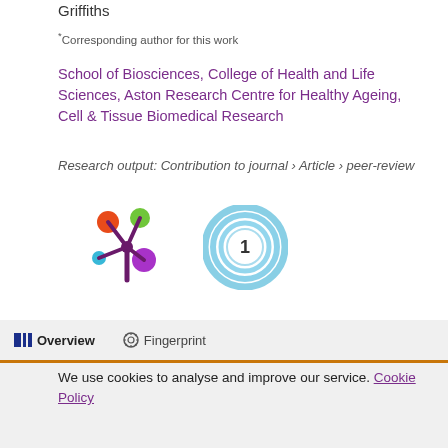Griffiths
*Corresponding author for this work
School of Biosciences, College of Health and Life Sciences, Aston Research Centre for Healthy Ageing, Cell & Tissue Biomedical Research
Research output: Contribution to journal › Article › peer-review
[Figure (logo): Altmetric flower logo and citation count badge showing '1']
Overview   Fingerprint
We use cookies to analyse and improve our service. Cookie Policy